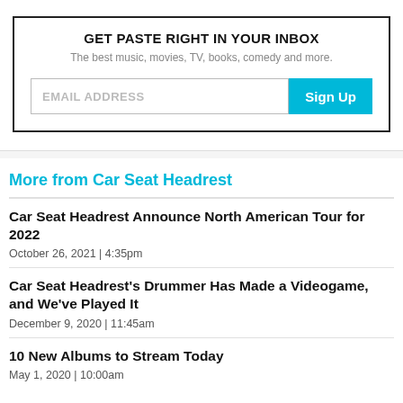GET PASTE RIGHT IN YOUR INBOX
The best music, movies, TV, books, comedy and more.
[Figure (other): Email signup form with EMAIL ADDRESS input field and Sign Up button]
More from Car Seat Headrest
Car Seat Headrest Announce North American Tour for 2022
October 26, 2021  |  4:35pm
Car Seat Headrest's Drummer Has Made a Videogame, and We've Played It
December 9, 2020  |  11:45am
10 New Albums to Stream Today
May 1, 2020  |  10:00am